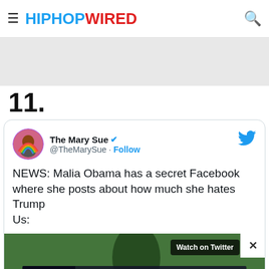HIPHOPWIRED
11.
[Figure (screenshot): Embedded tweet from @TheMarySue reading: NEWS: Malia Obama has a secret Facebook where she posts about how much she hates Trump Us: [with a video thumbnail and Watch on Twitter overlay and an ad banner]]